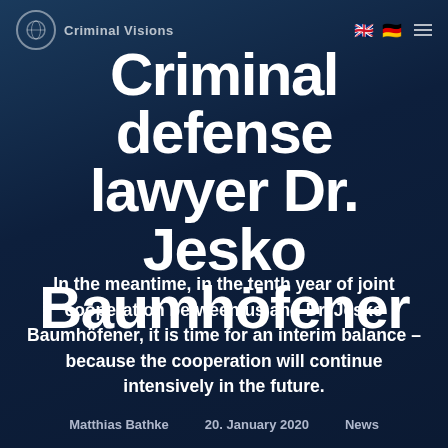Criminal Visions — Criminal defense [UK flag] [DE flag] [menu]
Criminal defense lawyer Dr. Jesko Baumhöfener
In the meantime, in the tenth year of joint cooperation between us and Dr. Jesko Baumhöfener, it is time for an interim balance – because the cooperation will continue intensively in the future.
Matthias Bathke   20. January 2020   News